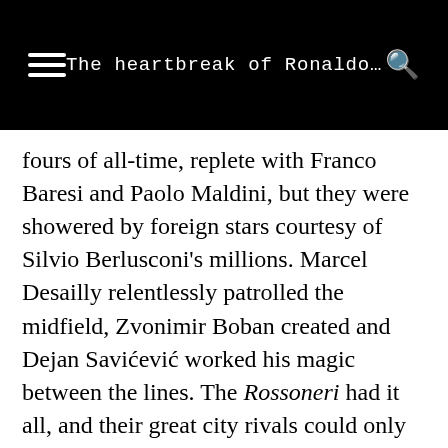The heartbreak of Ronaldo…
fours of all-time, replete with Franco Baresi and Paolo Maldini, but they were showered by foreign stars courtesy of Silvio Berlusconi's millions. Marcel Desailly relentlessly patrolled the midfield, Zvonimir Boban created and Dejan Savićević worked his magic between the lines. The Rossoneri had it all, and their great city rivals could only look on enviously.
Inter were the 'other' Milanese team during this period, their form wavering erratically as they bounced from title tilt to mid-table nothingness with disconcerting speed. However, in 1995, Massimo Moratti became president of the club and, in a bid to rejuvenate the